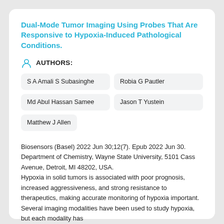Dual-Mode Tumor Imaging Using Probes That Are Responsive to Hypoxia-Induced Pathological Conditions.
AUTHORS:
S A Amali S Subasinghe
Robia G Pautler
Md Abul Hassan Samee
Jason T Yustein
Matthew J Allen
Biosensors (Basel) 2022 Jun 30;12(7). Epub 2022 Jun 30. Department of Chemistry, Wayne State University, 5101 Cass Avenue, Detroit, MI 48202, USA. Hypoxia in solid tumors is associated with poor prognosis, increased aggressiveness, and strong resistance to therapeutics, making accurate monitoring of hypoxia important. Several imaging modalities have been used to study hypoxia, but each modality has